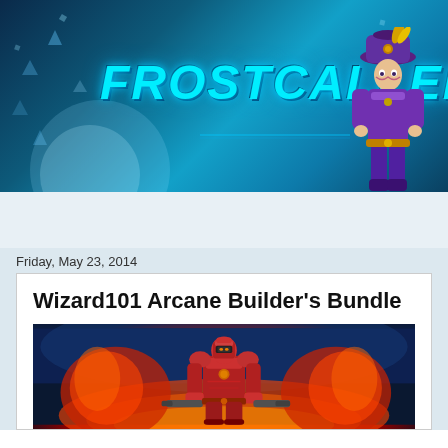[Figure (illustration): Frostcaller game banner with cyan glowing title text 'FROSTCALLER' on a dark blue icy background, with a character wearing a purple hat and outfit on the right side]
Friday, May 23, 2014
Wizard101 Arcane Builder's Bundle
[Figure (illustration): Game artwork showing a character in red armor standing in front of fiery explosions with a dark blue sky background]